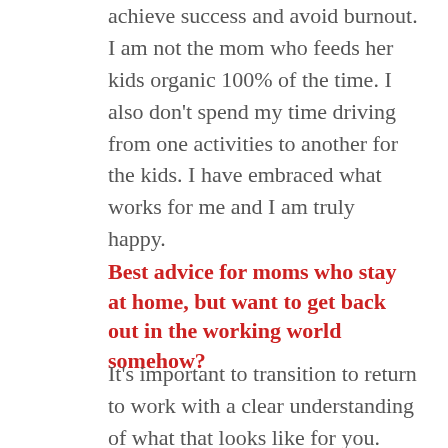achieve success and avoid burnout. I am not the mom who feeds her kids organic 100% of the time. I also don't spend my time driving from one activities to another for the kids. I have embraced what works for me and I am truly happy.
Best advice for moms who stay at home, but want to get back out in the working world somehow?
It's important to transition to return to work with a clear understanding of what that looks like for you. You can return to a part-time position, work-from-home role, or a full-time